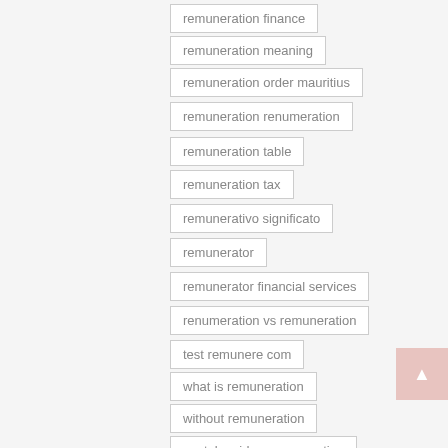remuneration finance
remuneration meaning
remuneration order mauritius
remuneration renumeration
remuneration table
remuneration tax
remunerativo significato
remunerator
remunerator financial services
renumeration vs remuneration
test remunere com
what is remuneration
without remuneration
youtube video remuneration